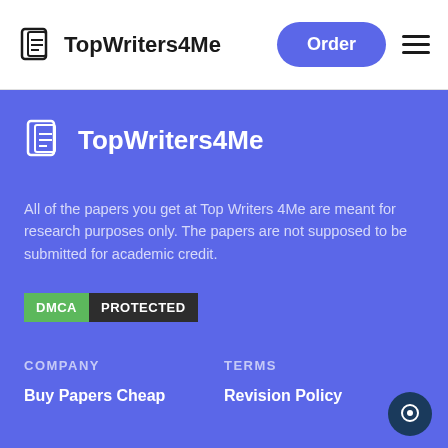TopWriters4Me — Order
[Figure (logo): TopWriters4Me logo with document icon and bold text in header]
All of the papers you get at Top Writers 4Me are meant for research purposes only. The papers are not supposed to be submitted for academic credit.
[Figure (other): DMCA PROTECTED badge — green 'DMCA' label and dark 'PROTECTED' label]
COMPANY
TERMS
Buy Papers Cheap
Revision Policy